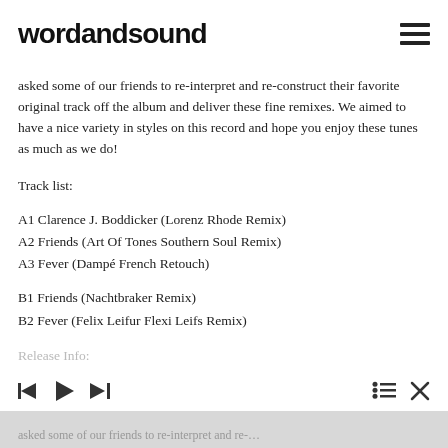wordandsound
asked some of our friends to re-interpret and re-construct their favorite original track off the album and deliver these fine remixes. We aimed to have a nice variety in styles on this record and hope you enjoy these tunes as much as we do!
Track list:
A1 Clarence J. Boddicker (Lorenz Rhode Remix)
A2 Friends (Art Of Tones Southern Soul Remix)
A3 Fever (Dampé French Retouch)
B1 Friends (Nachtbraker Remix)
B2 Fever (Felix Leifur Flexi Leifs Remix)
Release Info: